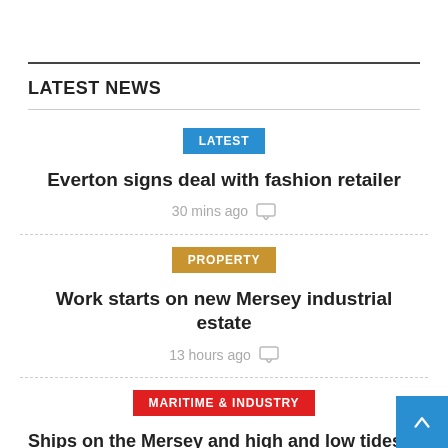LATEST NEWS
LATEST
Everton signs deal with fashion retailer
30 mins ago
PROPERTY
Work starts on new Mersey industrial estate
13 hours ago
MARITIME & INDUSTRY
Ships on the Mersey and high and low tides on Thursday